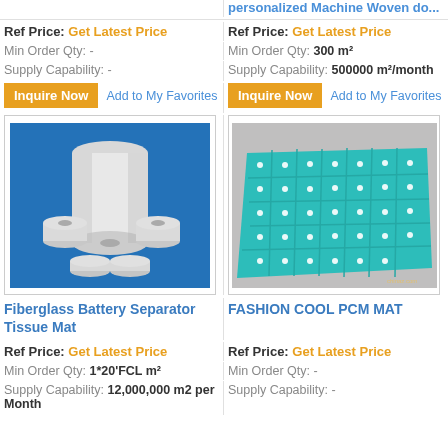personalized Machine Woven do...
Ref Price: Get Latest Price
Ref Price: Get Latest Price
Min Order Qty: -
Min Order Qty: 300 m²
Supply Capability: -
Supply Capability: 500000 m²/month
[Figure (photo): White fiberglass rolls on blue background]
[Figure (photo): Teal/green mat with white dot pattern]
Fiberglass Battery Separator Tissue Mat
FASHION COOL PCM MAT
Ref Price: Get Latest Price
Ref Price: Get Latest Price
Min Order Qty: 1*20'FCL m²
Min Order Qty: -
Supply Capability: 12,000,000 m2 per Month
Supply Capability: -